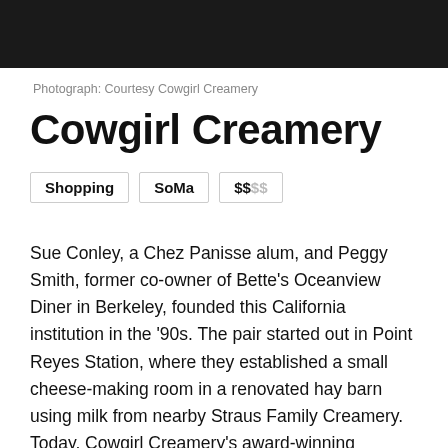[Figure (photo): Black header bar at top of page]
Photograph: Courtesy Cowgirl Creamery
Cowgirl Creamery
Shopping  SoMa  $$$$
Sue Conley, a Chez Panisse alum, and Peggy Smith, former co-owner of Bette's Oceanview Diner in Berkeley, founded this California institution in the '90s. The pair started out in Point Reyes Station, where they established a small cheese-making room in a renovated hay barn using milk from nearby Straus Family Creamery. Today, Cowgirl Creamery's award-winning cheeses are sold in over 500